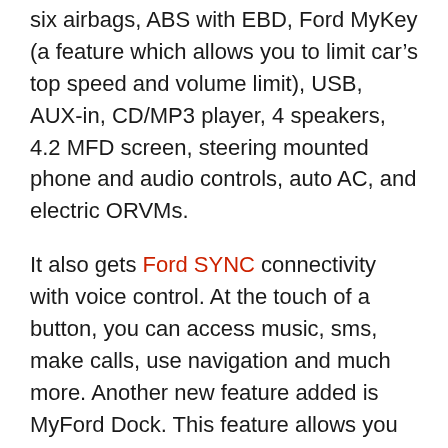six airbags, ABS with EBD, Ford MyKey (a feature which allows you to limit car's top speed and volume limit), USB, AUX-in, CD/MP3 player, 4 speakers, 4.2 MFD screen, steering mounted phone and audio controls, auto AC, and electric ORVMs.
It also gets Ford SYNC connectivity with voice control. At the touch of a button, you can access music, sms, make calls, use navigation and much more. Another new feature added is MyFord Dock. This feature allows you to access your phone's apps to navigate, and play mp3 songs.
Below is a detailed look into the entire list of features on offer with the new Ford Figo Aspire.